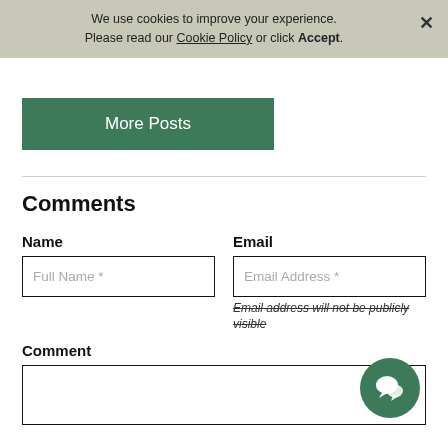We use cookies to improve your experience. Please read our Cookie Policy or click Accept.
More Posts
Comments
Name
Full Name *
Email
Email Address *
Email address will not be publicly visible
Comment
[Figure (illustration): Green circle with white chat/speech bubble icon]